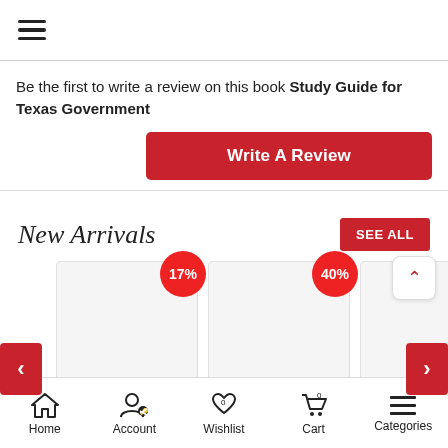≡
Be the first to write a review on this book Study Guide for Texas Government
Write A Review
New Arrivals
SEE ALL
[Figure (screenshot): Product card with 17% discount badge and QUICK VIEW button]
[Figure (screenshot): Product card with 40% discount badge and QUICK VIEW button]
[Figure (screenshot): Product card with 35% discount badge and QUICK VIEW button]
Home  Account  Wishlist  Cart  Categories